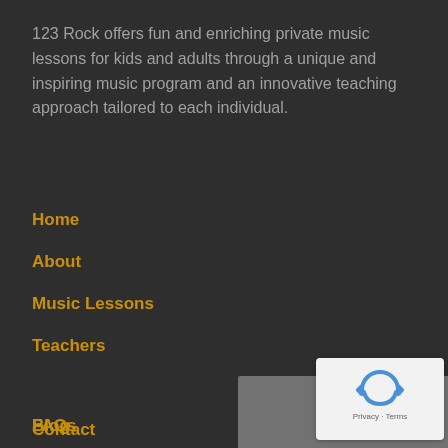123 Rock offers fun and enriching private music lessons for kids and adults through a unique and inspiring music program and an innovative teaching approach tailored to each individual.
Home
About
Music Lessons
Teachers
FAQs
Blog
Contact
[Figure (other): reCAPTCHA logo and privacy/terms footer overlay in bottom-right corner]